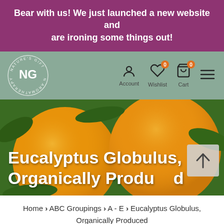Bear with us! We just launched a new website and are ironing some things out!
[Figure (screenshot): Navigation bar with Nature's Gift Aromatherapy logo (NG in circle), Account, Wishlist (0), Cart (0) icons, and hamburger menu on sage green background]
[Figure (photo): Hero image of oranges/citrus fruit on branches with large white bold text overlay reading 'Eucalyptus Globulus, Organically Produced' and a scroll-to-top arrow button]
Home › ABC Groupings › A - E › Eucalyptus Globulus, Organically Produced